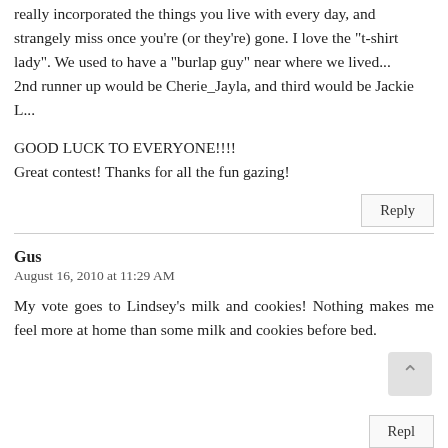really incorporated the things you live with every day, and strangely miss once you're (or they're) gone. I love the "t-shirt lady". We used to have a "burlap guy" near where we lived...
2nd runner up would be Cherie_Jayla, and third would be Jackie L...
GOOD LUCK TO EVERYONE!!!!
Great contest! Thanks for all the fun gazing!
Gus
August 16, 2010 at 11:29 AM
My vote goes to Lindsey's milk and cookies! Nothing makes me feel more at home than some milk and cookies before bed.